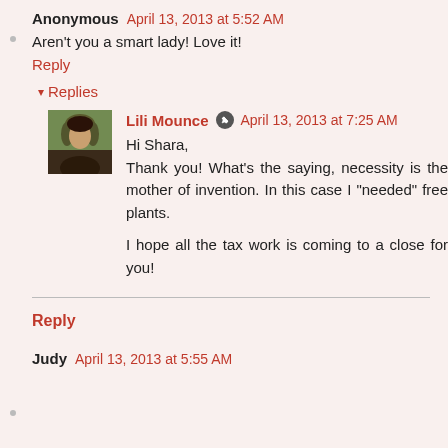Anonymous April 13, 2013 at 5:52 AM
Aren't you a smart lady! Love it!
Reply
▾ Replies
[Figure (photo): Avatar photo of Lili Mounce, a woman with dark hair]
Lili Mounce ✏ April 13, 2013 at 7:25 AM
Hi Shara,
Thank you! What's the saying, necessity is the mother of invention. In this case I "needed" free plants.

I hope all the tax work is coming to a close for you!
Reply
Judy April 13, 2013 at 5:55 AM